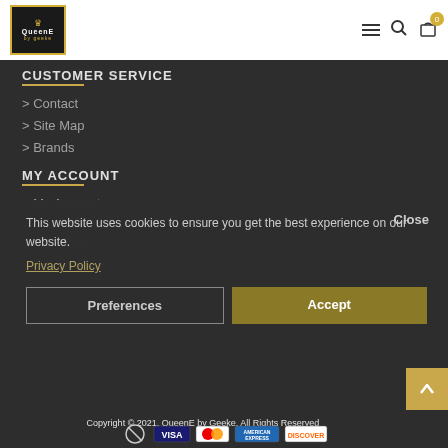[Figure (logo): QueenE by Geeke logo with gold crown on black background with gold border]
[Figure (infographic): Navigation icons: hamburger menu, search magnifier, shopping cart with badge showing 0]
CUSTOMER SERVICE
Contact
Site Map
Brands
MY ACCOUNT
My Account
Order History
Newsletter
Gift Certificates
This website uses cookies to ensure you get the best experience on our website.
Privacy Policy
Close
Preferences
Accept
Copyright © 2021, QueenE by Geeke, All Rights Reserved
[Figure (infographic): Payment method icons: no symbol, Visa, Mastercard, American Express, Discover]